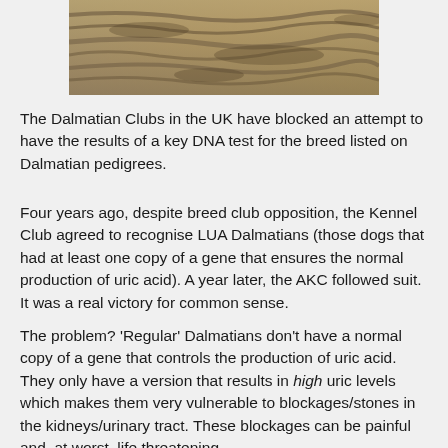[Figure (photo): Partial photo at top of page showing what appears to be sandy or rocky terrain with muted brown and tan colors.]
The Dalmatian Clubs in the UK have blocked an attempt to have the results of a key DNA test for the breed listed on Dalmatian pedigrees.
Four years ago, despite breed club opposition, the Kennel Club agreed to recognise LUA Dalmatians (those dogs that had at least one copy of a gene that ensures the normal production of uric acid). A year later, the AKC followed suit. It was a real victory for common sense.
The problem? 'Regular' Dalmatians don't have a normal copy of a gene that controls the production of uric acid. They only have a version that results in high uric levels which makes them very vulnerable to blockages/stones in the kidneys/urinary tract. These blockages can be painful and, at worst, life threatening.